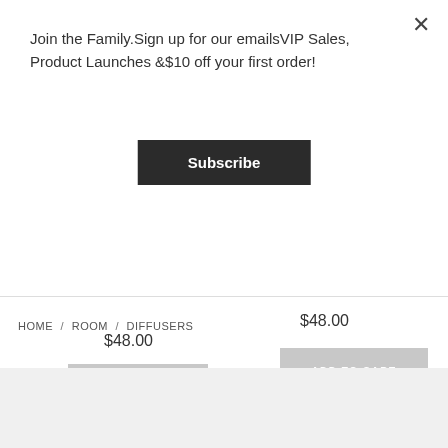Join the Family.Sign up for our emailsVIP Sales, Product Launches &$10 off your first order!
Subscribe
$48.00
ADD TO CART
$48.00
ADD TO CART
HOME / ROOM / DIFFUSERS
[Figure (illustration): Airplane icon (outline style)]
[Figure (illustration): Leaf icon (outline style)]
[Figure (illustration): Checkmark circle icon (outline style)]